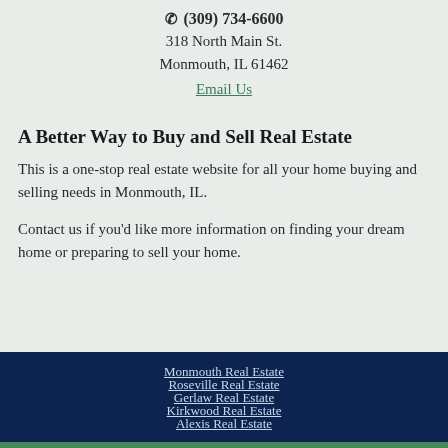☎ (309) 734-6600
318 North Main St.
Monmouth, IL 61462
Email Us
A Better Way to Buy and Sell Real Estate
This is a one-stop real estate website for all your home buying and selling needs in Monmouth, IL.
Contact us if you'd like more information on finding your dream home or preparing to sell your home.
Monmouth Real Estate
Roseville Real Estate
Gerlaw Real Estate
Kirkwood Real Estate
Alexis Real Estate